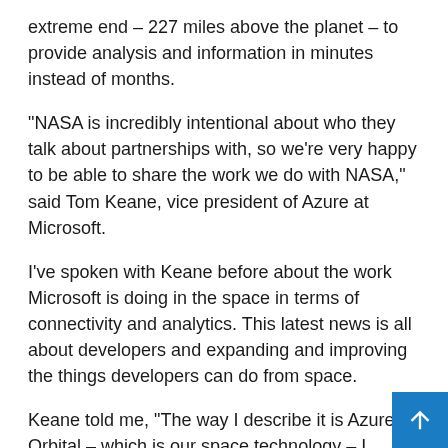extreme end – 227 miles above the planet – to provide analysis and information in minutes instead of months.
“NASA is incredibly intentional about who they talk about partnerships with, so we’re very happy to be able to share the work we do with NASA,” said Tom Keane, vice president of Azure at Microsoft.
I’ve spoken with Keane before about the work Microsoft is doing in the space in terms of connectivity and analytics. This latest news is all about developers and expanding and improving the things developers can do from space.
Keane told me, “The way I describe it is Azure Orbital – which is our space technology – I describe it as our cloud fabric in space. I think a year ago I was talking about space as a fringe scenario. It absolutely is, but as connectivity continues to grow, it’s always connected and it’s really a cloud structure that works in orbit.